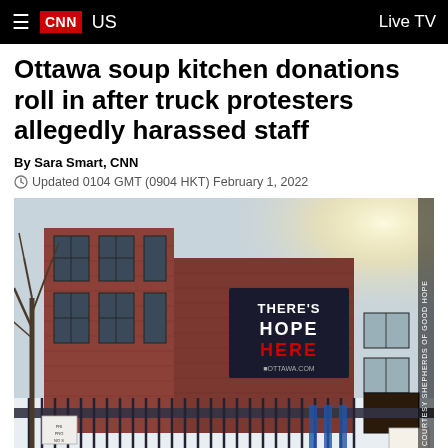CNN US | Live TV
Ottawa soup kitchen donations roll in after truck protesters allegedly harassed staff
By Sara Smart, CNN
Updated 0104 GMT (0904 HKT) February 1, 2022
[Figure (photo): Exterior of a red brick building (Shepherds of Good Hope soup kitchen in Ottawa) in winter. A banner on the building reads THERE'S HOPE HERE in white and red text on a dark background. Iron fence in foreground, bare trees to the left, bright sunlight on the right side.]
COURTESY SHEPHERDS OF GOOD HOPE